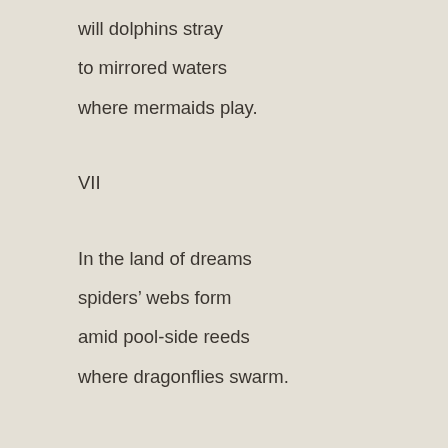will dolphins stray
to mirrored waters
where mermaids play.
VII
In the land of dreams
spiders’ webs form
amid pool-side reeds
where dragonflies swarm.
VIII